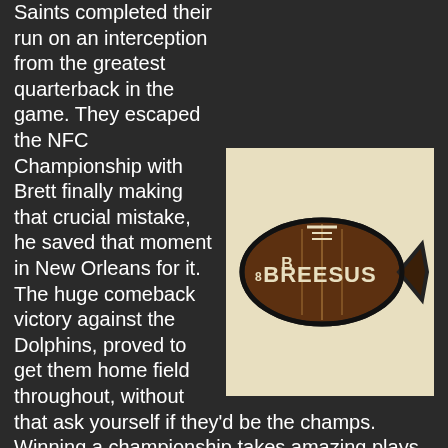Saints completed their run on an interception from the greatest quarterback in the game. They escaped the NFC Championship with Brett finally making that crucial mistake, he saved that moment in New Orleans for it. The huge comeback victory against the Dolphins, proved to get them home field throughout, without that ask yourself if they'd be the champs. Winning a championship takes amazing plays, takes gutsy calls that turn out in your favor, takes great opponents losing in dramatic fashion. The '01 Rams losing as big favorites, the '07 Patriots losing THE ONE and only one , and now the '09 Colts watching the coronation crumble. Give thanks to the football gods, who watched all the cards fall in the right places for the New Orleans Saints, they've made America's second favorite team Super Bowl Champs. They made us feel this coming for the better part of four years. Would we be feeling what we feel today if not for six doctors in Miami failing Drew Brees on his medical exam? The football gods granted fans what they wanted to see, the City of New Orleans finally celebrating in a way we've wanted them to for years. 1,000
[Figure (illustration): A 'Breesus' logo styled as an ichthys (Christian fish symbol) with a football texture containing the text 'BREESUS' in stylized lettering, on a beige/cream background]